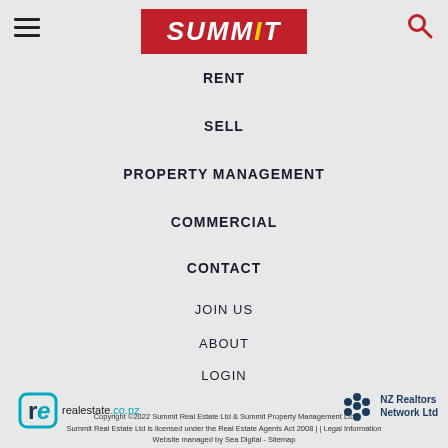SUMMIT (logo)
RENT
SELL
PROPERTY MANAGEMENT
COMMERCIAL
CONTACT
JOIN US
ABOUT
LOGIN
[Figure (logo): realestate.co.nz logo]
[Figure (logo): NZ Realtors Network Ltd logo]
Copyright ©2022 Summit Real Estate Ltd & Summit Property Management Ltd
Summit Real Estate Ltd is licensed under the Real Estate Agents Act 2008 | | Legal Information
Website managed by Sea Digital - Sitemap